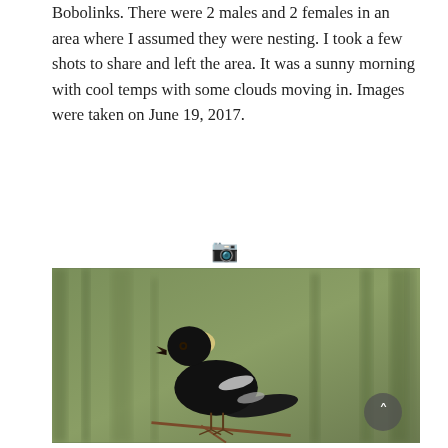Bobolinks. There were 2 males and 2 females in an area where I assumed they were nesting. I took a few shots to share and left the area. It was a sunny morning with cool temps with some clouds moving in. Images were taken on June 19, 2017.
[Figure (photo): A male Bobolink bird perched on a thin branch. The bird has a distinctive black body with a cream/yellow nape and white wing patches. It appears to be calling or singing, with its beak open. The background is blurred green vegetation consistent with a marshy or grassy habitat.]